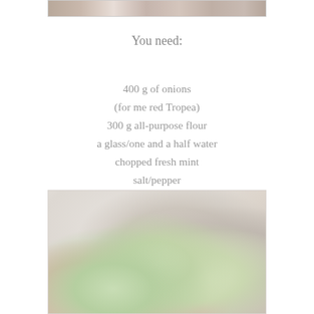[Figure (photo): Partial top image showing a person or scene, cropped, with warm brown tones]
You need:
400 g of onions
(for me red Tropea)
300 g all-purpose flour
a glass/one and a half water
chopped fresh mint
salt/pepper
peanut oil for frying
[Figure (photo): Blurred photo of fresh green onions/scallions held in hands, with pink-tipped roots visible, on a light background]